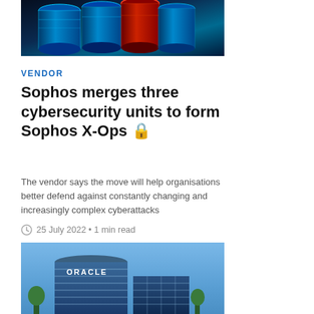[Figure (photo): Cybersecurity themed image with glowing blue cylindrical cables/tubes with one red tube, against a dark background]
VENDOR
Sophos merges three cybersecurity units to form Sophos X-Ops 🔒
The vendor says the move will help organisations better defend against constantly changing and increasingly complex cyberattacks
25 July 2022 • 1 min read
[Figure (photo): Oracle corporate building with blue glass facade and cylindrical architecture against a blue sky]